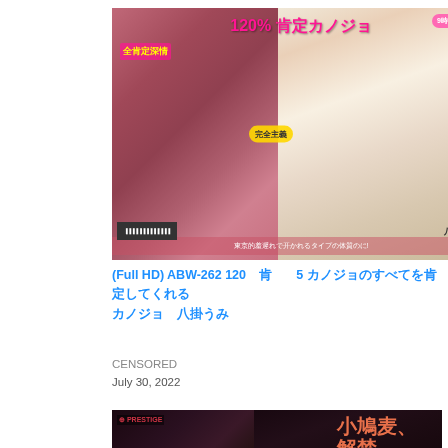[Figure (photo): DVD/Blu-ray product cover image for ABW-262, showing Japanese adult video packaging with pink and light-colored design featuring a young woman]
(Full HD) ABW-262 120　肯定　5 カノジョのすべてを肯定してくれるカノジョ　八掛うみ
CENSORED
July 30, 2022
[Figure (photo): DVD/Blu-ray product cover image for a Japanese adult video featuring a woman in dark background, with Japanese text 小鳩麦、解禁。]